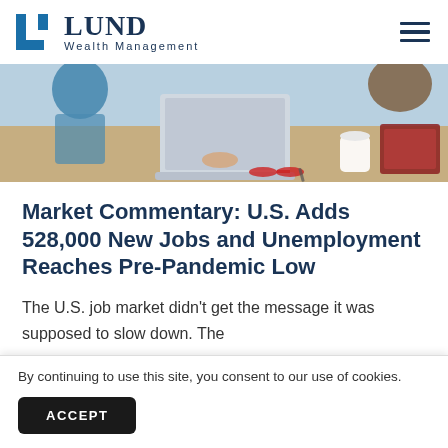Lund Wealth Management
[Figure (photo): Office meeting scene showing people working at a table with laptops, notebooks, and a coffee cup, taken from above at an angle.]
Market Commentary: U.S. Adds 528,000 New Jobs and Unemployment Reaches Pre-Pandemic Low
The U.S. job market didn't get the message it was supposed to slow down. The
By continuing to use this site, you consent to our use of cookies.
ACCEPT